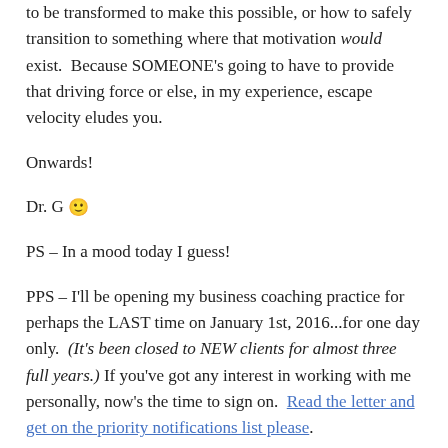to be transformed to make this possible, or how to safely transition to something where that motivation would exist.  Because SOMEONE's going to have to provide that driving force or else, in my experience, escape velocity eludes you.
Onwards!
Dr. G 🙂
PS – In a mood today I guess!
PPS – I'll be opening my business coaching practice for perhaps the LAST time on January 1st, 2016...for one day only.  (It's been closed to NEW clients for almost three full years.) If you've got any interest in working with me personally, now's the time to sign on.  Read the letter and get on the priority notifications list please.